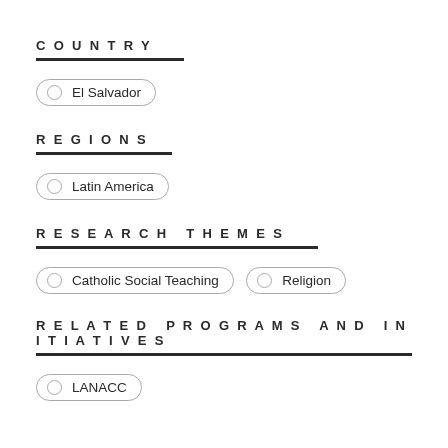COUNTRY
El Salvador
REGIONS
Latin America
RESEARCH THEMES
Catholic Social Teaching
Religion
RELATED PROGRAMS AND INITIATIVES
LANACC